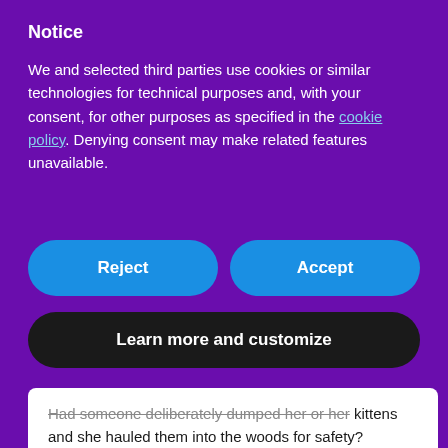Notice
We and selected third parties use cookies or similar technologies for technical purposes and, with your consent, for other purposes as specified in the cookie policy. Denying consent may make related features unavailable.
Reject
Accept
Learn more and customize
Had someone deliberately dumped her or her kittens and she hauled them into the woods for safety?
Vikki and I had talked about that as Julius cuddled in her lap. We had never seen a cat like him before in the neighborhood, in fact we had never seen a black and white cat